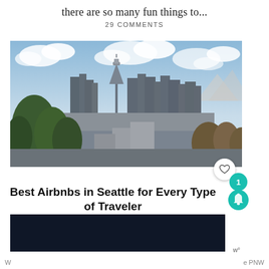there are so many fun things to...
29 COMMENTS
[Figure (photo): Seattle skyline with Space Needle prominently visible, surrounded by city buildings and green trees in the foreground, blue sky with clouds in the background, and mountains visible on the right.]
Best Airbnbs in Seattle for Every Type of Traveler
[Figure (photo): Dark navy/black image strip, partially visible at the bottom of the page.]
W  e PNW